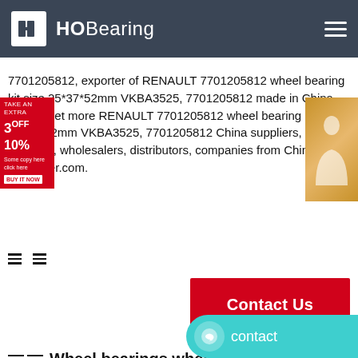HOBearing
7701205812, exporter of RENAULT 7701205812 wheel bearing kit size 25*37*52mm VKBA3525, 7701205812 made in China, Please get more RENAULT 7701205812 wheel bearing kit size 25*37*52mm VKBA3525, 7701205812 China suppliers, factories, wholesalers, distributors, companies from China on hisupplier.com.
[Figure (other): Contact Us red button]
Wheel bearings,wheel hubs, wheel hub assembly, stub axle ....
Wheel bearings,wheel hubs, wheel hub assembly, stub axle, axis & spindle for Dacia Autos,complete details about Wheel bearings,wheel hubs, wheel hub assembly, stub axle, axis & spindle for Dacia Autos provided by Yueqing Chinta Imp & Exp Co., Zhengda Bearing Co., Ltd.). You may also find the latest Wheel bearings,wheel hubs, wheel hub assembly
[Figure (other): Contact chat button at bottom right]